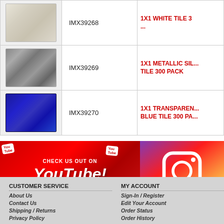| Image | SKU | Product Name |
| --- | --- | --- |
| [white tile image] | IMX39268 | 1X1 WHITE TILE 3... |
| [metallic silver image] | IMX39269 | 1X1 METALLIC SIL... TILE 300 PACK |
| [blue tile image] | IMX39270 | 1X1 TRANSPARENT BLUE TILE 300 PA... |
[Figure (infographic): YouTube promotional banner with red background, 'CHECK US OUT ON YouTube!' text and YouTube logo badges]
[Figure (infographic): Instagram promotional banner with gradient purple-orange background and Instagram camera icon]
CUSTOMER SERVICE
About Us
Contact Us
Shipping / Returns
Privacy Policy
MY ACCOUNT
Sign-In / Register
Edit Your Account
Order Status
Order History